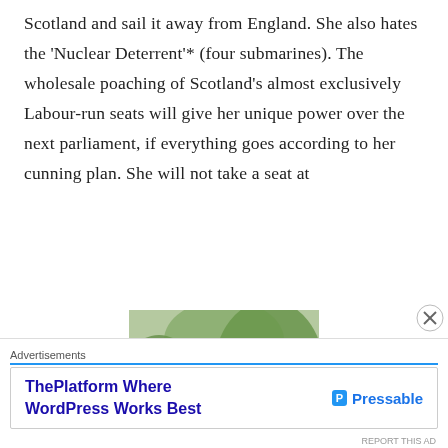Scotland and sail it away from England. She also hates the 'Nuclear Deterrent'* (four submarines). The wholesale poaching of Scotland's almost exclusively Labour-run seats will give her unique power over the next parliament, if everything goes according to her cunning plan. She will not take a seat at
[Figure (photo): A garden gnome figurine with a human face (appears to be a satirical photo composite), wearing a red pointed hat and green outfit, displayed outdoors with greenery in background.]
Advertisements
[Figure (screenshot): Advertisement banner for Pressable: 'ThePlatform Where WordPress Works Best' with Pressable logo on the right.]